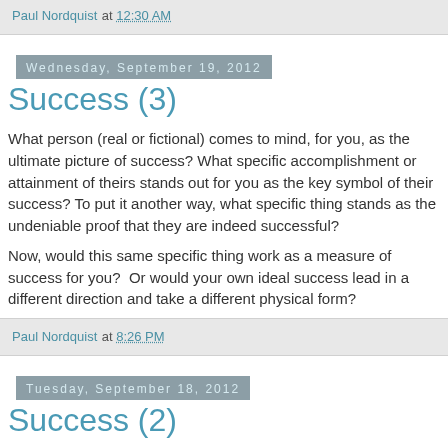Paul Nordquist at 12:30 AM
Wednesday, September 19, 2012
Success (3)
What person (real or fictional) comes to mind, for you, as the ultimate picture of success? What specific accomplishment or attainment of theirs stands out for you as the key symbol of their success? To put it another way, what specific thing stands as the undeniable proof that they are indeed successful?
Now, would this same specific thing work as a measure of success for you?  Or would your own ideal success lead in a different direction and take a different physical form?
Paul Nordquist at 8:26 PM
Tuesday, September 18, 2012
Success (2)